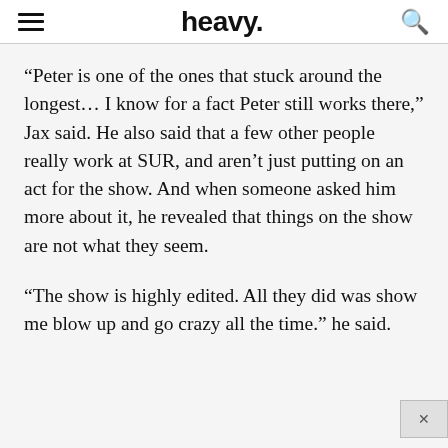heavy.
“Peter is one of the ones that stuck around the longest… I know for a fact Peter still works there,” Jax said. He also said that a few other people really work at SUR, and aren’t just putting on an act for the show. And when someone asked him more about it, he revealed that things on the show are not what they seem.
“The show is highly edited. All they did was show me blow up and go crazy all the time.” he said.